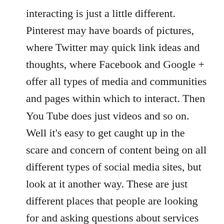interacting is just a little different. Pinterest may have boards of pictures, where Twitter may quick link ideas and thoughts, where Facebook and Google + offer all types of media and communities and pages within which to interact. Then You Tube does just videos and so on. Well it's easy to get caught up in the scare and concern of content being on all different types of social media sites, but look at it another way. These are just different places that people are looking for and asking questions about services or products they like or want to buy. YOUR job as a business is to be visible within these different platforms when someone types in a search that identifies with your business and potential cliental.